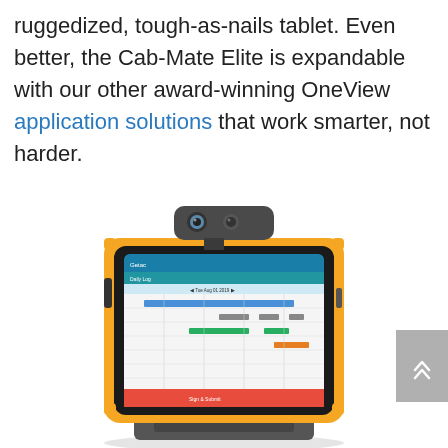ruggedized, tough-as-nails tablet. Even better, the Cab-Mate Elite is expandable with our other award-winning OneView application solutions that work smarter, not harder.
[Figure (photo): A ruggedized Getac tablet (yellow and black frame) with a camera/sensor module mounted on top, displaying a Daily Log ELD application on screen. The tablet is held in a mount/cradle.]